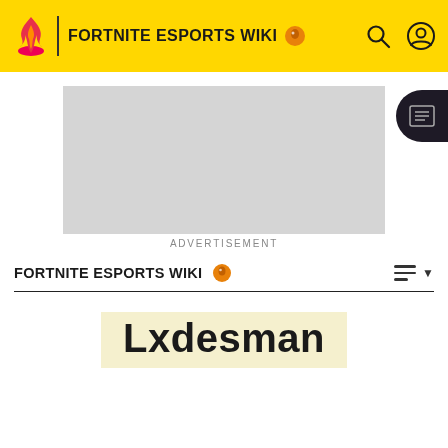FORTNITE ESPORTS WIKI
[Figure (other): Advertisement placeholder box]
ADVERTISEMENT
FORTNITE ESPORTS WIKI
Lxdesman